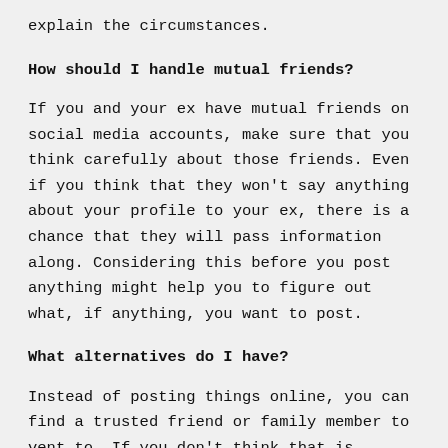explain the circumstances.
How should I handle mutual friends?
If you and your ex have mutual friends on social media accounts, make sure that you think carefully about those friends. Even if you think that they won't say anything about your profile to your ex, there is a chance that they will pass information along. Considering this before you post anything might help you to figure out what, if anything, you want to post.
What alternatives do I have?
Instead of posting things online, you can find a trusted friend or family member to vent to. If you don't think that is possible, you can keep a journal about how you feel. That journal should be kept on